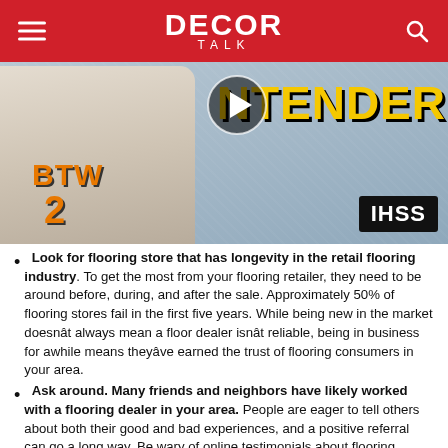DECOR TALK
[Figure (photo): Basketball player wearing BTW jersey number 2, with 'CONTENDER' text in yellow and a play button overlay, IHSS logo badge in lower right]
Look for flooring store that has longevity in the retail flooring industry. To get the most from your flooring retailer, they need to be around before, during, and after the sale. Approximately 50% of flooring stores fail in the first five years. While being new in the market doesnât always mean a floor dealer isnât reliable, being in business for awhile means theyâve earned the trust of flooring consumers in your area.
Ask around. Many friends and neighbors have likely worked with a flooring dealer in your area. People are eager to tell others about both their good and bad experiences, and a positive referral can go a long way. Be wary of online testimonials about flooring stores, though. A disgruntled employee or unscrupulous competitor could post a negative